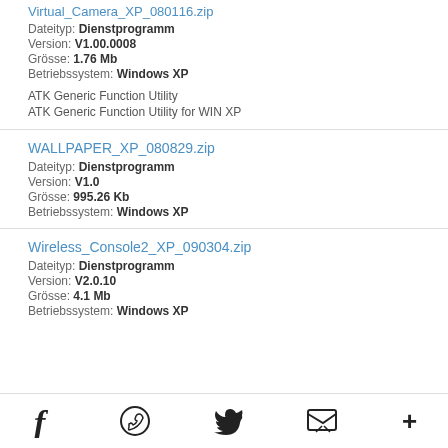Virtual_Camera_XP_080116.zip (partial, top cropped)
Dateityp: Dienstprogramm
Version: V1.00.0008
Grösse: 1.76 Mb
Betriebssystem: Windows XP
ATK Generic Function Utility
ATK Generic Function Utility for WIN XP
WALLPAPER_XP_080829.zip
Dateityp: Dienstprogramm
Version: V1.0
Grösse: 995.26 Kb
Betriebssystem: Windows XP
Wireless_Console2_XP_090304.zip
Dateityp: Dienstprogramm
Version: V2.0.10
Grösse: 4.1 Mb
Betriebssystem: Windows XP
Social share icons: Facebook, WhatsApp, Twitter, Email, More